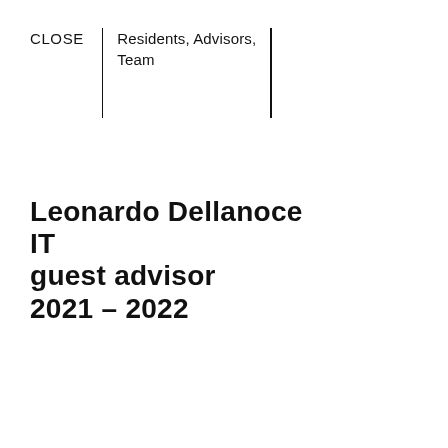CLOSE | Residents, Advisors, Team
Leonardo Dellanoce
IT
guest advisor
2021 – 2022